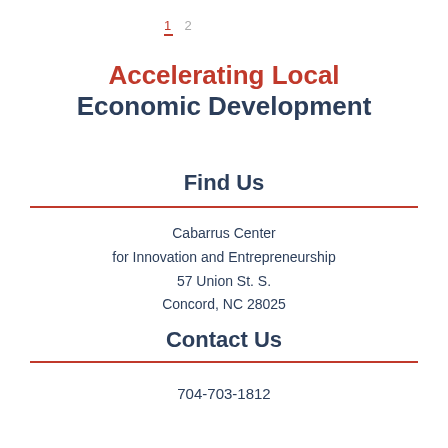1  2
Accelerating Local Economic Development
Find Us
Cabarrus Center for Innovation and Entrepreneurship 57 Union St. S. Concord, NC 28025
Contact Us
704-703-1812
news@cabarruscenter.com